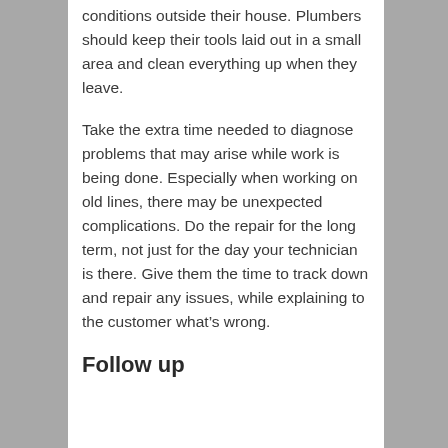conditions outside their house. Plumbers should keep their tools laid out in a small area and clean everything up when they leave.
Take the extra time needed to diagnose problems that may arise while work is being done. Especially when working on old lines, there may be unexpected complications. Do the repair for the long term, not just for the day your technician is there. Give them the time to track down and repair any issues, while explaining to the customer what’s wrong.
Follow up